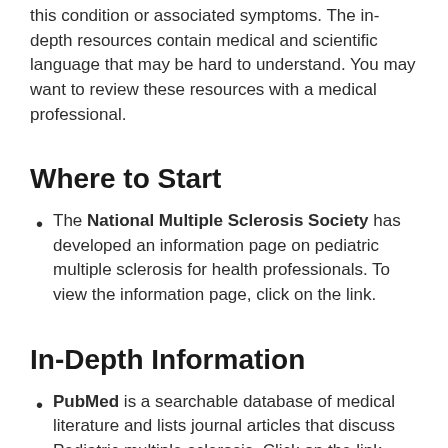this condition or associated symptoms. The in-depth resources contain medical and scientific language that may be hard to understand. You may want to review these resources with a medical professional.
Where to Start
The National Multiple Sclerosis Society has developed an information page on pediatric multiple sclerosis for health professionals. To view the information page, click on the link.
In-Depth Information
PubMed is a searchable database of medical literature and lists journal articles that discuss Pediatric multiple sclerosis. Click on the link